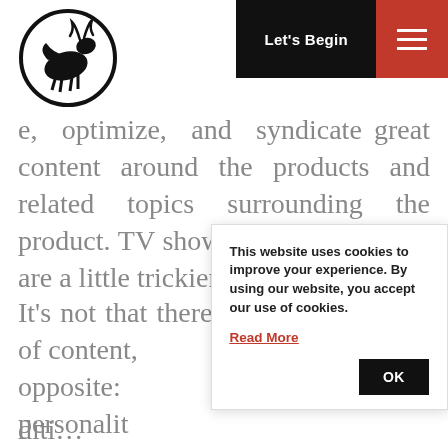[Figure (logo): Circular logo with bird/moose silhouette illustration in black and white]
Let's Begin
e, optimize, and syndicate great content around the products and related topics surrounding the product. TV shows and personalities are a little trickier.
It's not that there is a lack of content, opposite: personalit content.
This website uses cookies to improve your experience. By using our website, you accept our use of cookies.
Read More
OK